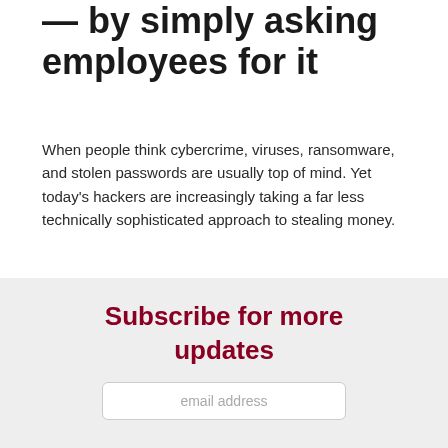— by simply asking employees for it
When people think cybercrime, viruses, ransomware, and stolen passwords are usually top of mind. Yet today's hackers are increasingly taking a far less technically sophisticated approach to stealing money.
Find More News
Subscribe for more updates
email address